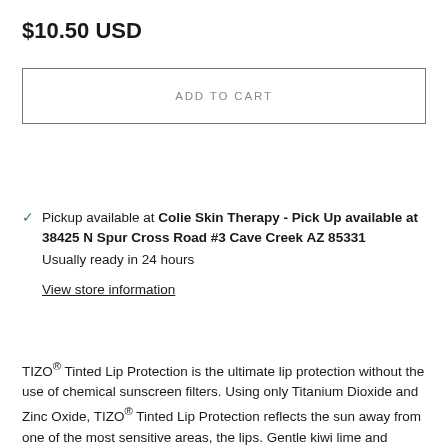$10.50 USD
ADD TO CART
Pickup available at Colie Skin Therapy - Pick Up available at 38425 N Spur Cross Road #3 Cave Creek AZ 85331
Usually ready in 24 hours
View store information
TIZO® Tinted Lip Protection is the ultimate lip protection without the use of chemical sunscreen filters. Using only Titanium Dioxide and Zinc Oxide, TIZO® Tinted Lip Protection reflects the sun away from one of the most sensitive areas, the lips. Gentle kiwi lime and ginger flavor